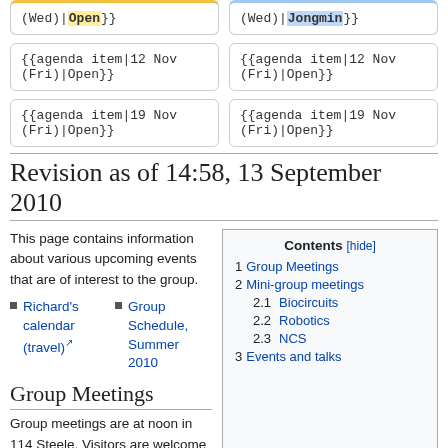(Wed)|Open}}
(Wed)|Jongmin}}
{{agenda item|12 Nov (Fri)|Open}}
{{agenda item|12 Nov (Fri)|Open}}
{{agenda item|19 Nov (Fri)|Open}}
{{agenda item|19 Nov (Fri)|Open}}
Revision as of 14:58, 13 September 2010
This page contains information about various upcoming events that are of interest to the group.
Richard's calendar (travel)
Group Schedule, Summer 2010
| Contents [hide] |
| 1  Group Meetings |
| 2  Mini-group meetings |
| 2.1  Biocircuits |
| 2.2  Robotics |
| 2.3  NCS |
| 3  Events and talks |
Group Meetings
Group meetings are at noon in 114 Steele. Visitors are welcome (but be prepared to get signed up to give a talk!).
| Date | Speaker | Date | Speaker | Date | Speaker |
| --- | --- | --- | --- | --- | --- |